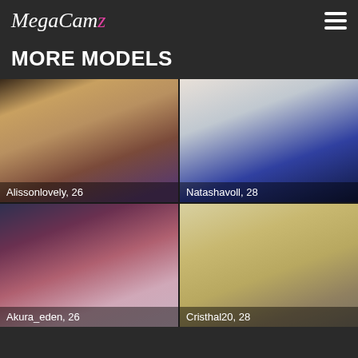MegaCamz
MORE MODELS
[Figure (photo): Profile photo of Alissonlovely, 26]
[Figure (photo): Profile photo of Natashavoll, 28]
[Figure (photo): Profile photo of Akura_eden, 26]
[Figure (photo): Profile photo of Cristhal20, 28]